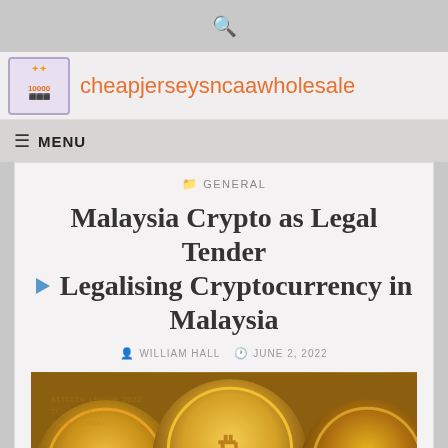cheapjerseysncaawholesale
≡ MENU
GENERAL
Malaysia Crypto as Legal Tender ▶ Legalising Cryptocurrency in Malaysia
WILLIAM HALL   JUNE 2, 2022
[Figure (photo): Gold Bitcoin cryptocurrency coins stacked together]